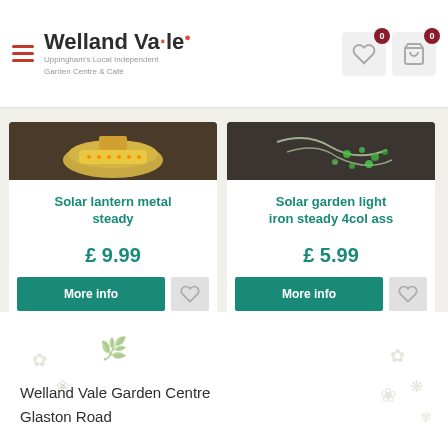Welland Vale – Uppingham's Local Independent Garden Centre & Café
[Figure (screenshot): Product card: Solar lantern metal steady, image of yellow solar lantern on dark background, price £9.99, More info button and heart/wishlist button]
[Figure (screenshot): Product card: Solar garden light iron steady 4col ass, image of wire garden lights on dark background, price £5.99, More info button and heart/wishlist button]
Welland Vale Garden Centre
Glaston Road